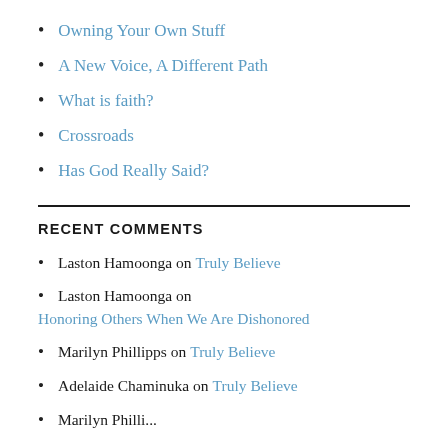Owning Your Own Stuff
A New Voice, A Different Path
What is faith?
Crossroads
Has God Really Said?
RECENT COMMENTS
Laston Hamoonga on Truly Believe
Laston Hamoonga on Honoring Others When We Are Dishonored
Marilyn Phillipps on Truly Believe
Adelaide Chaminuka on Truly Believe
Marilyn Phillipps on ...